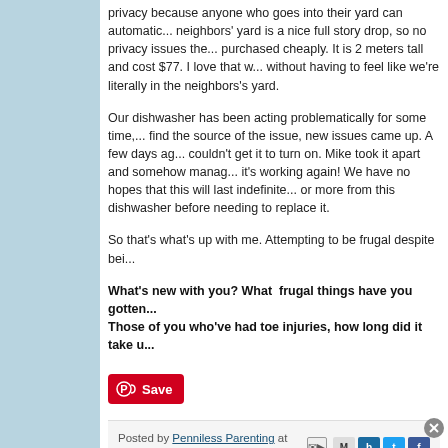privacy because anyone who goes into their yard can automatically... neighbors' yard is a nice full story drop, so no privacy issues there... purchased cheaply. It is 2 meters tall and cost $77. I love that w... without having to feel like we're literally in the neighbors's yard.
Our dishwasher has been acting problematically for some time,... find the source of the issue, new issues came up. A few days ag... couldn't get it to turn on. Mike took it apart and somehow manag... it's working again! We have no hopes that this will last indefinite... or more from this dishwasher before needing to replace it.
So that's what's up with me. Attempting to be frugal despite bei...
What's new with you? What frugal things have you gotten... Those of you who've had toe injuries, how long did it take u...
[Figure (other): Pinterest Save button with red background]
Posted by Penniless Parenting at May 28, 2018
Labels: building, DIY, extreme frugality, frugal shopping, frugal strategies, he... dent
5 comments: